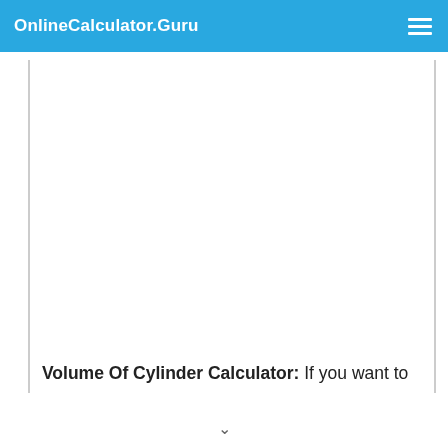OnlineCalculator.Guru
Volume Of Cylinder Calculator: If you want to